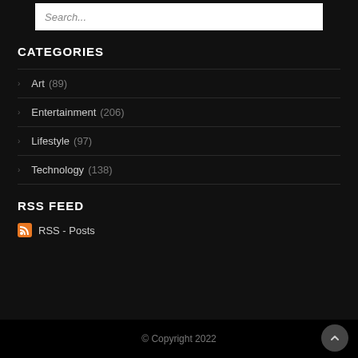Search...
CATEGORIES
Art (89)
Entertainment (206)
Lifestyle (97)
Technology (138)
RSS FEED
RSS - Posts
© Copyright 2022